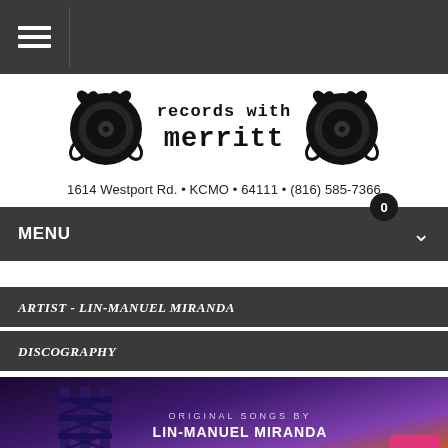Navigation menu bar
[Figure (logo): Records with Merritt logo featuring two vinyl records with bird/hand motifs flanking stylized typewriter-font text reading 'records with merritt']
1614 Westport Rd. • KCMO • 64111 • (816) 585-7366
MENU
ARTIST - LIN-MANUEL MIRANDA
DISCOGRAPHY
[Figure (photo): Album cover image with purple and orange gradient background showing a building structure on the left and text 'ORIGINAL SONGS BY LIN-MANUEL MIRANDA' with partial cursive title text at the bottom]